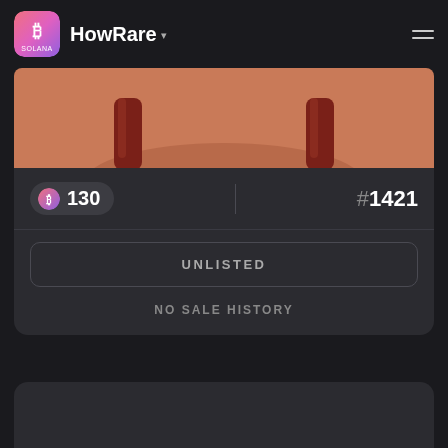HowRare
[Figure (illustration): Partial NFT artwork showing a salmon/peach colored background with dark reddish-brown strap-like shapes at bottom, cropped at top]
R 130
#1421
UNLISTED
NO SALE HISTORY